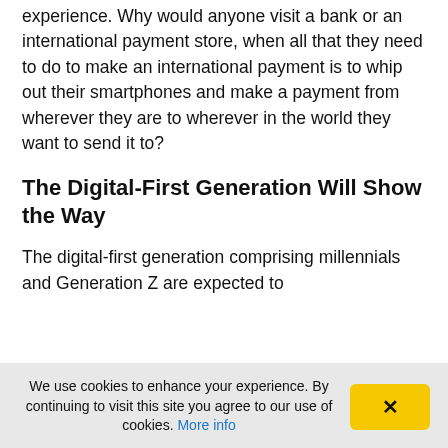experience. Why would anyone visit a bank or an international payment store, when all that they need to do to make an international payment is to whip out their smartphones and make a payment from wherever they are to wherever in the world they want to send it to?
The Digital-First Generation Will Show the Way
The digital-first generation comprising millennials and Generation Z are expected to
We use cookies to enhance your experience. By continuing to visit this site you agree to our use of cookies. More info